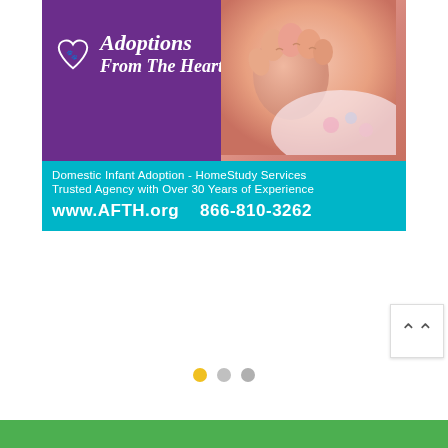[Figure (illustration): Advertisement for Adoptions From The Heart. Top half shows purple background with heart logo and brand name 'Adoptions From The Heart' in white italic text, alongside a photo of a baby's fist. Bottom teal/cyan section shows text: 'Domestic Infant Adoption - HomeStudy Services', 'Trusted Agency with Over 30 Years of Experience', 'www.AFTH.org  866-810-3262'.]
Domestic Infant Adoption - HomeStudy Services
Trusted Agency with Over 30 Years of Experience
www.AFTH.org    866-810-3262